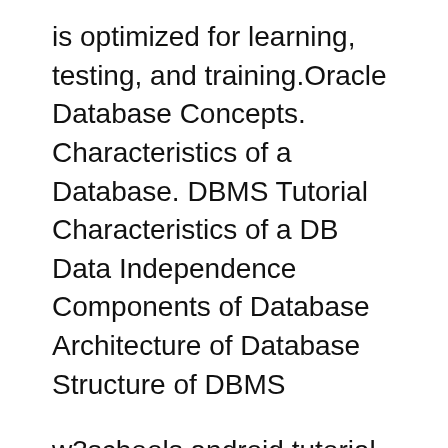is optimized for learning, testing, and training.Oracle Database Concepts. Characteristics of a Database. DBMS Tutorial Characteristics of a DB Data Independence Components of Database Architecture of Database Structure of DBMS
w3schools android tutorial pdf w3schools algorithms w3schools animation w3schools accordion w3schools database management system w3schools date w3schools excel DBMS Introduction What is DBMS?: A collection of software for organizing the information in a database that might contain routines for data input, verification
DBMS Tutorial. DBMS Tutorial Characteristics of